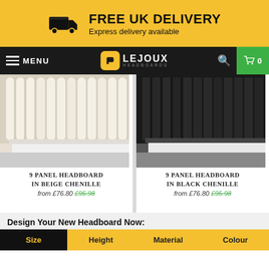[Figure (infographic): Yellow banner with truck icon, FREE UK DELIVERY text and Express delivery available subtext]
[Figure (screenshot): Black navigation bar with MENU label, Lejoux Headboards logo in center, search icon and green cart button showing 0 items]
[Figure (photo): 9 Panel Headboard in Beige Chenille product photo showing cream/beige vertical panel headboard]
[Figure (photo): 9 Panel Headboard in Black Chenille product photo showing dark black vertical panel headboard]
9 PANEL HEADBOARD IN BEIGE CHENILLE
from £76.80 £95.98
9 PANEL HEADBOARD IN BLACK CHENILLE
from £76.80 £95.98
Design Your New Headboard Now:
Size | Height | Material | Colour